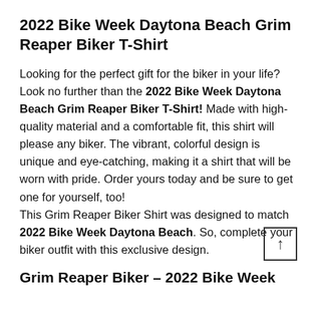2022 Bike Week Daytona Beach Grim Reaper Biker T-Shirt
Looking for the perfect gift for the biker in your life? Look no further than the 2022 Bike Week Daytona Beach Grim Reaper Biker T-Shirt! Made with high-quality material and a comfortable fit, this shirt will please any biker. The vibrant, colorful design is unique and eye-catching, making it a shirt that will be worn with pride. Order yours today and be sure to get one for yourself, too! This Grim Reaper Biker Shirt was designed to match 2022 Bike Week Daytona Beach. So, complete your biker outfit with this exclusive design.
Grim Reaper Biker – 2022 Bike Week